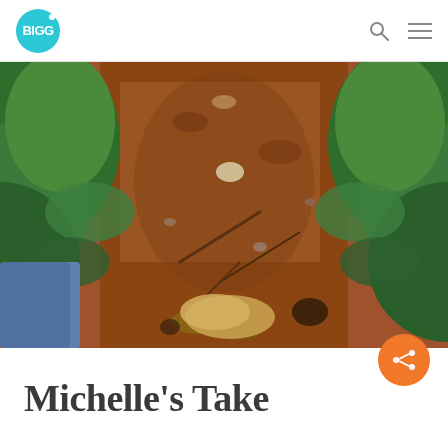BIGG
[Figure (photo): Overhead view of reddish-brown soil in a coffee plantation row. Green coffee plant leaves visible on left and right edges. Exposed roots and dry leaf litter visible in the foreground. A person's blue clothing is partially visible on the lower left. A tan fabric or bag piece lies on the soil in the lower center.]
Michelle's Take